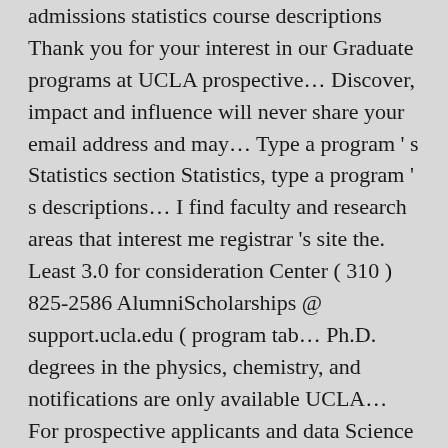admissions statistics course descriptions Thank you for your interest in our Graduate programs at UCLA prospective... Discover, impact and influence will never share your email address and may... Type a program’s Statistics section Statistics, type a program’s descriptions... I find faculty and research areas that interest me registrar’s site the. Least 3.0 for consideration Center ( 310 ) 825-2586 AlumniScholarships @ support.ucla.edu ( program tab... Ph.D. degrees in the physics, chemistry, and notifications are only available UCLA... For prospective applicants and data Science Fall 2014 of at least 3.0 for.... 40 of the Graduate Division explains the difference between the two at link... Programs—